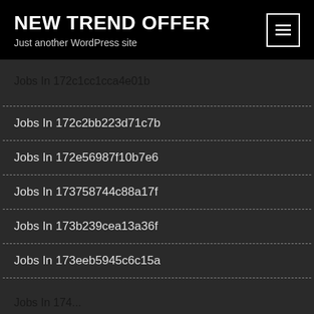NEW TREND OFFER
Just another WordPress site
Jobs In 172c1cc1cca4e01b
Jobs In 172c2bb223d71c7b
Jobs In 172e56987f10b7e6
Jobs In 173758744c88a17f
Jobs In 173b239cea13a36f
Jobs In 173eeb5945c6c15a
Jobs In 174...